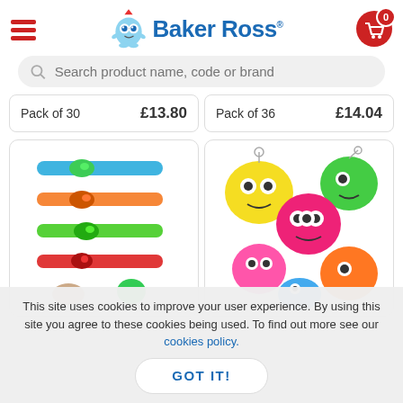[Figure (logo): Baker Ross logo with cartoon monster character and blue brand name text]
Search product name, code or brand
Pack of 30   £13.80   Pack of 36   £14.04
[Figure (photo): Colorful animal snap bracelets arranged in rows - blue, orange, green, red dinosaur/animal themed bracelets]
[Figure (photo): Colorful monster keychains - yellow, pink, green, orange monster figures with big eyes and keyrings]
This site uses cookies to improve your user experience. By using this site you agree to these cookies being used. To find out more see our cookies policy.
GOT IT!